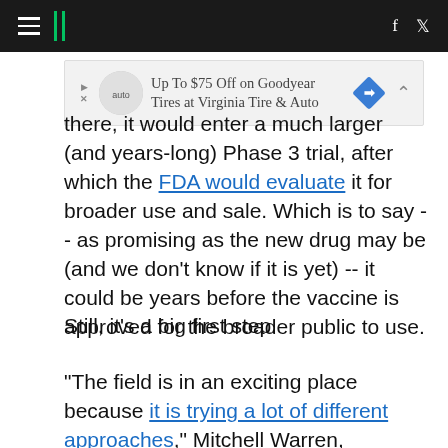HuffPost navigation header with hamburger menu, logo, facebook and twitter icons
[Figure (other): Advertisement banner: Up To $75 Off on Goodyear Tires at Virginia Tire & Auto]
there, it would enter a much larger (and years-long) Phase 3 trial, after which the FDA would evaluate it for broader use and sale. Which is to say -- as promising as the new drug may be (and we don't know if it is yet) -- it could be years before the vaccine is approved for the broader public to use.
Still, it's a big first step.
"The field is in an exciting place because it is trying a lot of different approaches," Mitchell Warren, executive director of AVAC, a global HIV